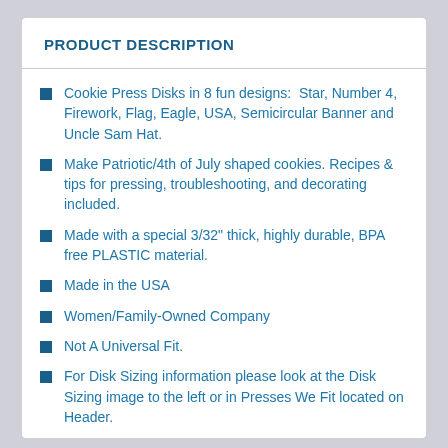PRODUCT DESCRIPTION
Cookie Press Disks in 8 fun designs:  Star, Number 4, Firework, Flag, Eagle, USA, Semicircular Banner and Uncle Sam Hat.
Make Patriotic/4th of July shaped cookies. Recipes & tips for pressing, troubleshooting, and decorating included.
Made with a special 3/32" thick, highly durable, BPA free PLASTIC material.
Made in the USA
Women/Family-Owned Company
Not A Universal Fit.
For Disk Sizing information please look at the Disk Sizing image to the left or in Presses We Fit located on Header.